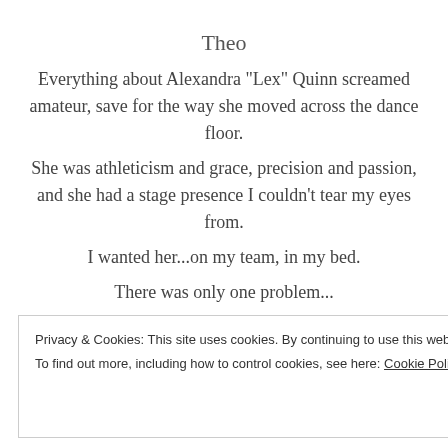Theo
Everything about Alexandra “Lex” Quinn screamed amateur, save for the way she moved across the dance floor.
She was athleticism and grace, precision and passion, and she had a stage presence I couldn’t tear my eyes from.
I wanted her…on my team, in my bed.
There was only one problem…
I couldn’t have both.
Privacy & Cookies: This site uses cookies. By continuing to use this website, you agree to their use.
To find out more, including how to control cookies, see here: Cookie Policy
Close and accept